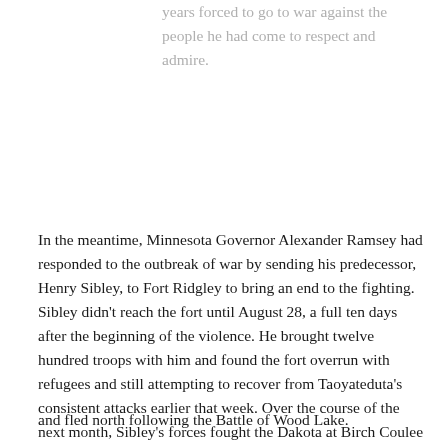years forced to go to war against the people he had come to respect and admire.
In the meantime, Minnesota Governor Alexander Ramsey had responded to the outbreak of war by sending his predecessor, Henry Sibley, to Fort Ridgley to bring an end to the fighting. Sibley didn't reach the fort until August 28, a full ten days after the beginning of the violence. He brought twelve hundred troops with him and found the fort overrun with refugees and still attempting to recover from Taoyateduta's consistent attacks earlier that week. Over the course of the next month, Sibley's forces fought the Dakota at Birch Coulee on September 2, and Wood Lake on September 23, 1862. Taoyateduta took his troops
and fled north following the Battle of Wood Lake.